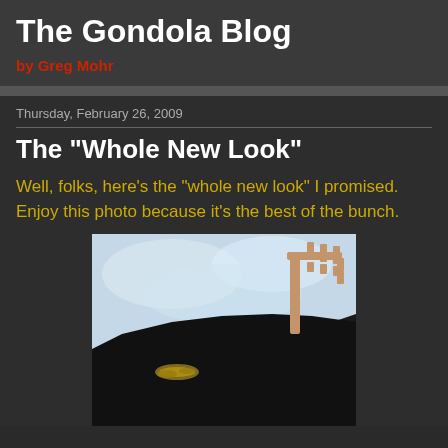The Gondola Blog
by Greg Mohr
Thursday, February 26, 2009
The "Whole New Look"
Well, folks, here's the "whole new look" I promised. Enjoy this photo because it's the best of the bunch.
[Figure (photo): Close-up photo of the ornate ferro (metal bow ornament) and prow of a black gondola against a light blue sky. The ferro has a comb-like structure with multiple prongs, and a golden decorative element is visible near the base of the prow.]